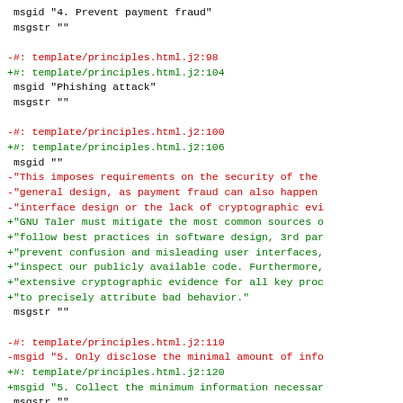msgid "4. Prevent payment fraud"
 msgstr ""

-#: template/principles.html.j2:98
+#: template/principles.html.j2:104
 msgid "Phishing attack"
 msgstr ""

-#: template/principles.html.j2:100
+#: template/principles.html.j2:106
 msgid ""
-"This imposes requirements on the security of the
-"general design, as payment fraud can also happen
-"interface design or the lack of cryptographic evi
+"GNU Taler must mitigate the most common sources o
+"follow best practices in software design, 3rd par
+"prevent confusion and misleading user interfaces,
+"inspect our publicly available code. Furthermore,
+"extensive cryptographic evidence for all key proc
+"to precisely attribute bad behavior."
 msgstr ""

-#: template/principles.html.j2:110
-msgid "5. Only disclose the minimal amount of info
+#: template/principles.html.j2:120
+msgid "5. Collect the minimum information necessar
 msgstr ""

-#: template/principles.html.j2:111
+#: template/principles.html.j2:121